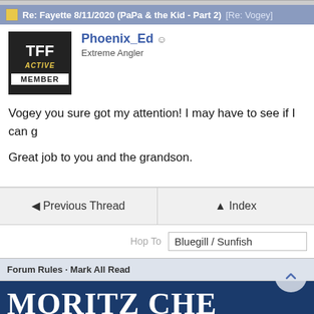Re: Fayette 8/11/2020 (PaPa & the Kid - Part 2) [Re: Vogey]
[Figure (screenshot): TFF Active Member badge - black background with TFF text and ACTIVE in gold italic, MEMBER in white bar]
Phoenix_Ed
Extreme Angler
Vogey you sure got my attention! I may have to see if I can g
Great job to you and the grandson.
◄ Previous Thread
▲ Index
Hop To  Bluegill / Sunfish
Forum Rules · Mark All Read
[Figure (illustration): Moritz Chevrolet banner advertisement - dark blue background with MORITZ CHE in large white serif text]